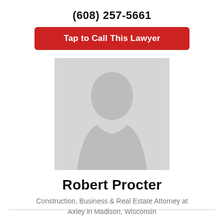(608) 257-5661
Tap to Call This Lawyer
[Figure (illustration): Generic placeholder silhouette of a person (head and shoulders) on a light grey background]
Robert Procter
Construction, Business & Real Estate Attorney at Axley in Madison, Wisconsin